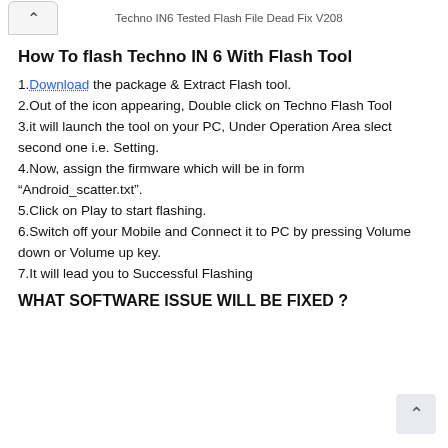Techno IN6 Tested Flash File Dead Fix V208
How To flash Techno IN 6 With Flash Tool
1.Download the package & Extract Flash tool.
2.Out of the icon appearing, Double click on Techno Flash Tool
3.it will launch the tool on your PC, Under Operation Area slect second one i.e. Setting.
4.Now, assign the firmware which will be in form “Android_scatter.txt”.
5.Click on Play to start flashing.
6.Switch off your Mobile and Connect it to PC by pressing Volume down or Volume up key.
7.It will lead you to Successful Flashing
WHAT SOFTWARE ISSUE WILL BE FIXED ?